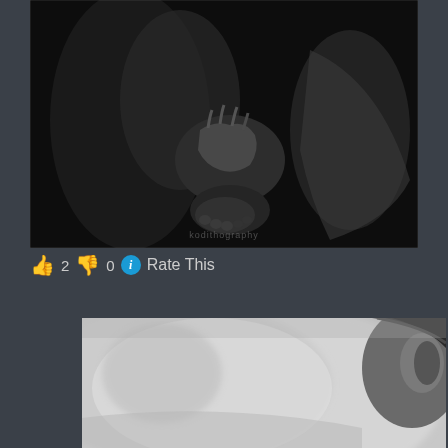[Figure (photo): Black and white artistic photograph showing human figures with hands and feet visible against a dark background, with a watermark text at the bottom]
👍 2 👎 0 ℹ Rate This
[Figure (photo): Black and white close-up photograph showing a blurred face/cheek area with an ear visible on the right side]